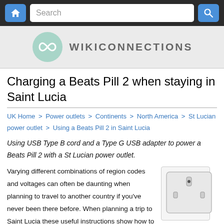Home  Search  [search button]
[Figure (logo): WIKICONNECTIONS logo with infinity symbol in teal circle]
Charging a Beats Pill 2 when staying in Saint Lucia
UK Home > Power outlets > Continents > North America > St Lucian power outlet > Using a Beats Pill 2 in Saint Lucia
Using USB Type B cord and a Type G USB adapter to power a Beats Pill 2 with a St Lucian power outlet.
Varying different combinations of region codes and voltages can often be daunting when planning to travel to another country if you've never been there before. When planning a trip to Saint Lucia these useful instructions show how to power your Beats Pill 2 by using a
[Figure (photo): UK Type G power outlet socket illustration, white socket on light gray background]